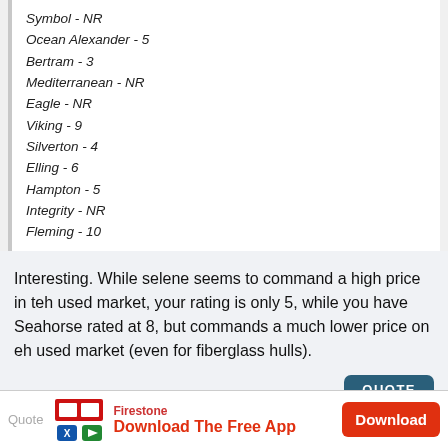Symbol - NR
Ocean Alexander - 5
Bertram - 3
Mediterranean - NR
Eagle - NR
Viking - 9
Silverton - 4
Elling - 6
Hampton - 5
Integrity - NR
Fleming - 10
Interesting. While selene seems to command a high price in teh used market, your rating is only 5, while you have Seahorse rated at 8, but commands a much lower price on eh used market (even for fiberglass hulls).
02-24-2017, 02:12 PM  #34
alormaria  Join Date: Apr 2012  Posts: 1,421